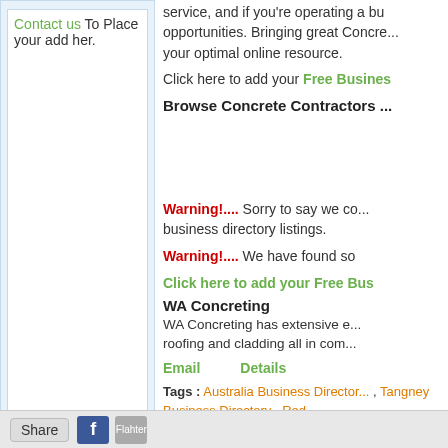Contact us To Place your add her.
service, and if you're operating a business... opportunities. Bringing great Concrete... your optimal online resource.
Click here to add your Free Business
Browse Concrete Contractors ...
Warning!.... Sorry to say we could not find business directory listings.
Warning!.... We have found so
Click here to add your Free Bus
WA Concreting
WA Concreting has extensive e... roofing and cladding all in com...
Email   Details
Tags : Australia Business Directory, Tangney Business Directory, Red... Australia, Concrete Contractors W... Concrete Contractors Redcliffe, C...
Share